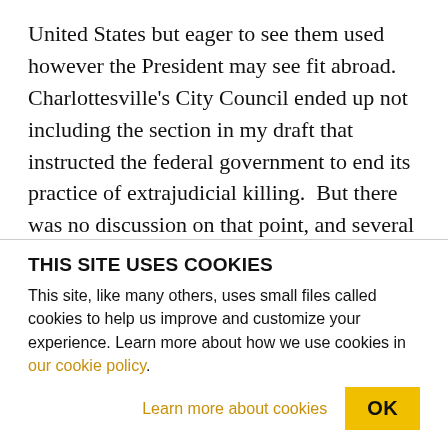United States but eager to see them used however the President may see fit abroad.  Charlottesville's City Council ended up not including the section in my draft that instructed the federal government to end its practice of extrajudicial killing.  But there was no discussion on that point, and several other sections, including one creating a local ordinance, were left out as well.  The problem there, according to Smith, was that “we don’t own the air.”

Yet, we should. And Oregon is attempting to do so
THIS SITE USES COOKIES
This site, like many others, uses small files called cookies to help us improve and customize your experience. Learn more about how we use cookies in our cookie policy.
Learn more about cookies   OK